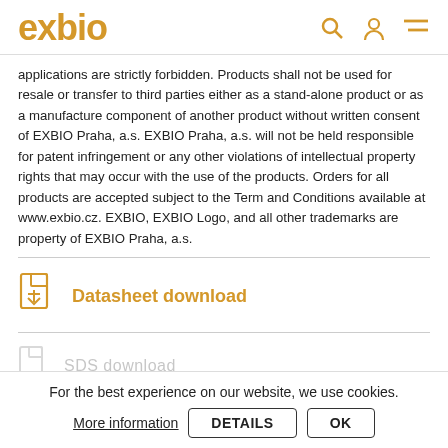exbio
applications are strictly forbidden. Products shall not be used for resale or transfer to third parties either as a stand-alone product or as a manufacture component of another product without written consent of EXBIO Praha, a.s. EXBIO Praha, a.s. will not be held responsible for patent infringement or any other violations of intellectual property rights that may occur with the use of the products. Orders for all products are accepted subject to the Term and Conditions available at www.exbio.cz. EXBIO, EXBIO Logo, and all other trademarks are property of EXBIO Praha, a.s.
Datasheet download
SDS download
For the best experience on our website, we use cookies.
More information
DETAILS
OK